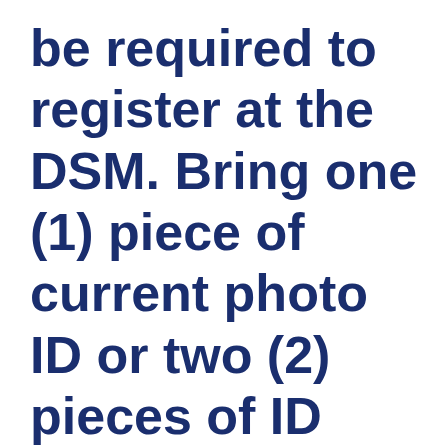be required to register at the DSM. Bring one (1) piece of current photo ID or two (2) pieces of ID that together show your name,